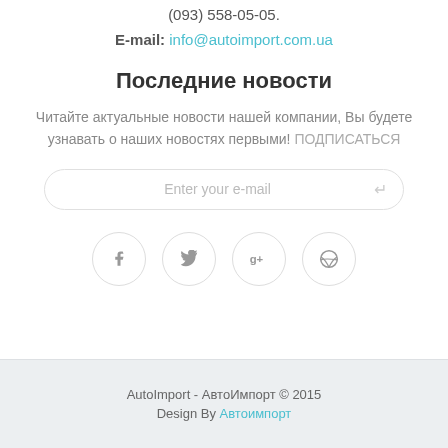(093) 558-05-05.
E-mail: info@autoimport.com.ua
Последние новости
Читайте актуальные новости нашей компании, Вы будете узнавать о наших новостях первыми! ПОДПИСАТЬСЯ
Enter your e-mail
[Figure (other): Row of four social media icon circles: Facebook (f), Twitter (bird), Google+ (g+), Dribbble (wheel)]
AutoImport - АвтоИмпорт © 2015
Design By Автоимпорт